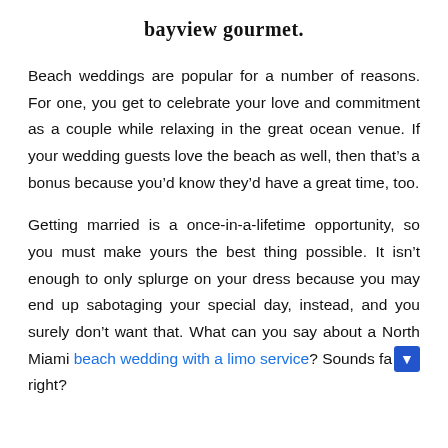bayview gourmet.
Beach weddings are popular for a number of reasons. For one, you get to celebrate your love and commitment as a couple while relaxing in the great ocean venue. If your wedding guests love the beach as well, then that’s a bonus because you’d know they’d have a great time, too.
Getting married is a once-in-a-lifetime opportunity, so you must make yours the best thing possible. It isn’t enough to only splurge on your dress because you may end up sabotaging your special day, instead, and you surely don’t want that. What can you say about a North Miami beach wedding with a limo service? Sounds fa… right?